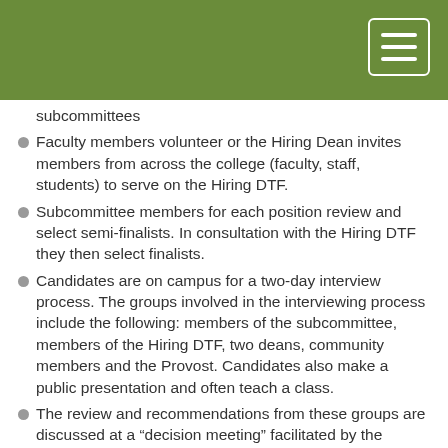subcommittees
Faculty members volunteer or the Hiring Dean invites members from across the college (faculty, staff, students) to serve on the Hiring DTF.
Subcommittee members for each position review and select semi-finalists. In consultation with the Hiring DTF they then select finalists.
Candidates are on campus for a two-day interview process. The groups involved in the interviewing process include the following: members of the subcommittee, members of the Hiring DTF, two deans, community members and the Provost. Candidates also make a public presentation and often teach a class.
The review and recommendations from these groups are discussed at a “decision meeting” facilitated by the Hiring Dean. Members of the subcommittee, Hiring DTF and deans make up this group.
The recommendation to hire for the position is sent forward to the Provost who makes final decision in